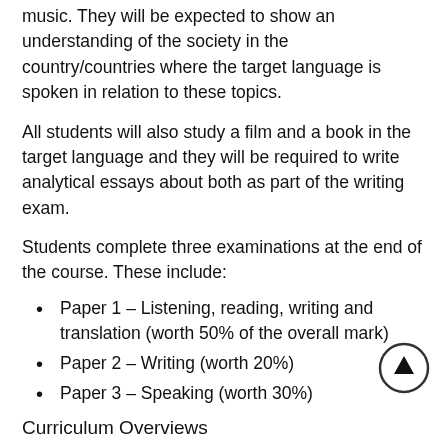music. They will be expected to show an understanding of the society in the country/countries where the target language is spoken in relation to these topics.
All students will also study a film and a book in the target language and they will be required to write analytical essays about both as part of the writing exam.
Students complete three examinations at the end of the course. These include:
Paper 1 – Listening, reading, writing and translation (worth 50% of the overall mark)
Paper 2 – Writing (worth 20%)
Paper 3 – Speaking (worth 30%)
Curriculum Overviews